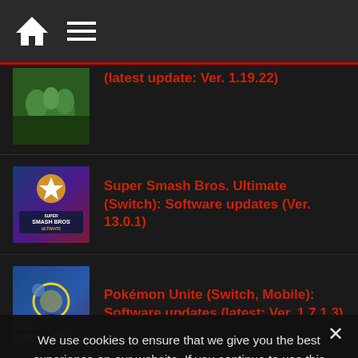Navigation bar with home and menu icons
(latest update: Ver. 1.19.22)
Super Smash Bros. Ultimate (Switch): Software updates (Ver. 13.0.1)
Pokémon Unite (Switch, Mobile): Software updates (latest: Ver. 1.7.1.3)
Pokémon Ultra Sun and Ultra Moon: all QR codes
We use cookies to ensure that we give you the best experience on our website. If you continue to use this site we will assume that you are happy with it.
I understand   Privacy policy
Super Kirby Clash: list of all the passwords for...